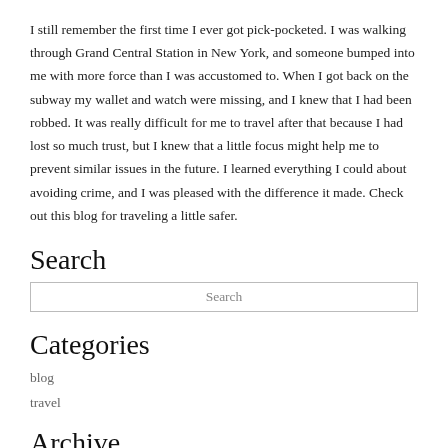I still remember the first time I ever got pick-pocketed. I was walking through Grand Central Station in New York, and someone bumped into me with more force than I was accustomed to. When I got back on the subway my wallet and watch were missing, and I knew that I had been robbed. It was really difficult for me to travel after that because I had lost so much trust, but I knew that a little focus might help me to prevent similar issues in the future. I learned everything I could about avoiding crime, and I was pleased with the difference it made. Check out this blog for traveling a little safer.
Search
Search
Categories
blog
travel
Archive
2018
2019